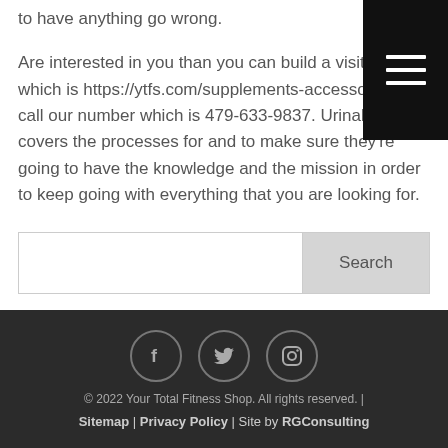to have anything go wrong.
Are interested in you than you can build a visitor web which is https://ytfs.com/supplements-accessories/ or call our number which is 479-633-9837. Urinal the covers the processes for and to make sure they're going to have the knowledge and the mission in order to keep going with everything that you are looking for.
[Figure (other): Search bar with text input field and Search button]
© 2022 Your Total Fitness Shop. All rights reserved. | Sitemap | Privacy Policy | Site by RGConsulting